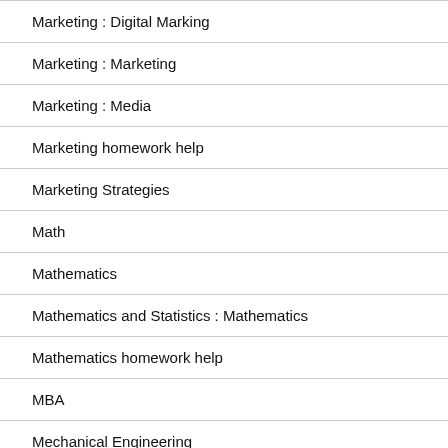Marketing : Digital Marking
Marketing : Marketing
Marketing : Media
Marketing homework help
Marketing Strategies
Math
Mathematics
Mathematics and Statistics : Mathematics
Mathematics homework help
MBA
Mechanical Engineering